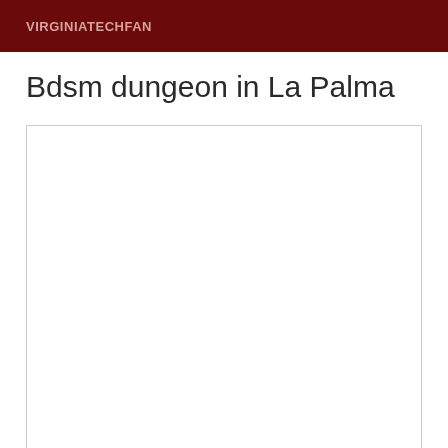VIRGINIATECHFAN
Bdsm dungeon in La Palma
[Figure (other): Empty white content box with border, no visible content inside]